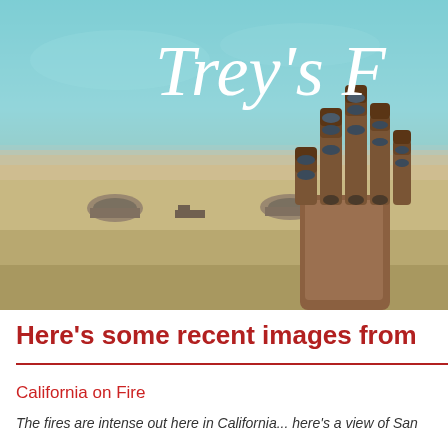[Figure (photo): Hero image showing a desert landscape (Burning Man style) with a large metallic robot hand sculpture in the right foreground, dome structures and vehicles in the background under a teal/blue sky. Overlaid with cursive white text reading 'Trey's F' (partially cropped).]
Here's some recent images from
California on Fire
The fires are intense out here in California... here's a view of San